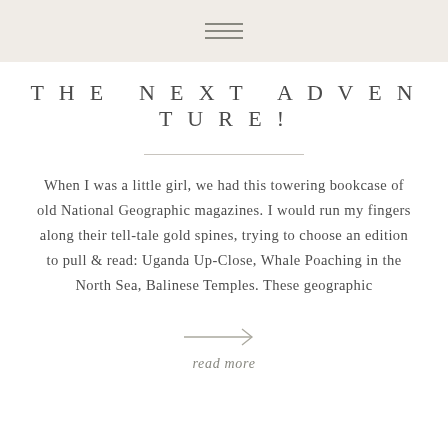THE NEXT ADVENTURE!
When I was a little girl, we had this towering bookcase of old National Geographic magazines. I would run my fingers along their tell-tale gold spines, trying to choose an edition to pull & read: Uganda Up-Close, Whale Poaching in the North Sea, Balinese Temples. These geographic
read more